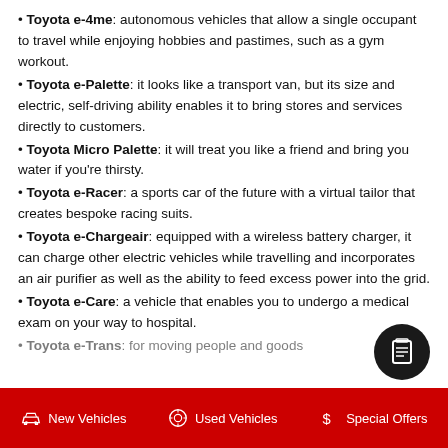Toyota e-4me: autonomous vehicles that allow a single occupant to travel while enjoying hobbies and pastimes, such as a gym workout.
Toyota e-Palette: it looks like a transport van, but its size and electric, self-driving ability enables it to bring stores and services directly to customers.
Toyota Micro Palette: it will treat you like a friend and bring you water if you're thirsty.
Toyota e-Racer: a sports car of the future with a virtual tailor that creates bespoke racing suits.
Toyota e-Chargeair: equipped with a wireless battery charger, it can charge other electric vehicles while travelling and incorporates an air purifier as well as the ability to feed excess power into the grid.
Toyota e-Care: a vehicle that enables you to undergo a medical exam on your way to hospital.
Toyota e-Trans: for moving people and goods
New Vehicles   Used Vehicles   Special Offers